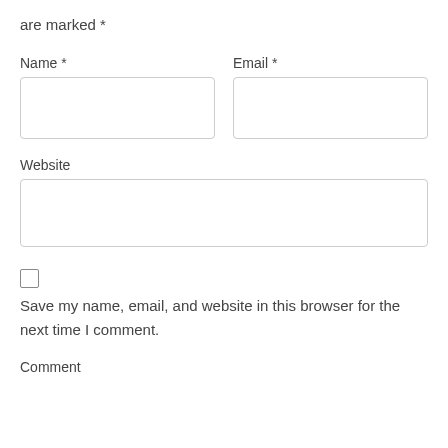are marked *
Name *
Email *
Website
Save my name, email, and website in this browser for the next time I comment.
Comment